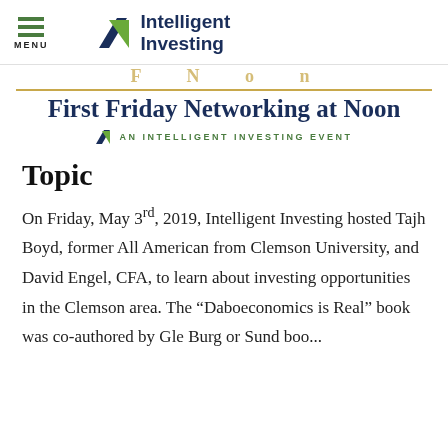MENU | Intelligent Investing
First Friday Networking at Noon
AN INTELLIGENT INVESTING EVENT
Topic
On Friday, May 3rd, 2019, Intelligent Investing hosted Tajh Boyd, former All American from Clemson University, and David Engel, CFA, to learn about investing opportunities in the Clemson area. The “Daboeconomics is Real” book was co-authored by Glen Burg or Sandra...